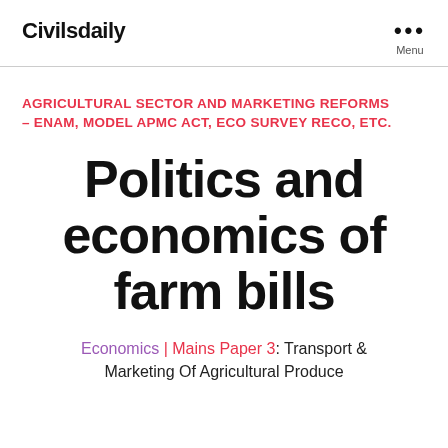Civilsdaily
AGRICULTURAL SECTOR AND MARKETING REFORMS – ENAM, MODEL APMC ACT, ECO SURVEY RECO, ETC.
Politics and economics of farm bills
Economics | Mains Paper 3: Transport & Marketing Of Agricultural Produce